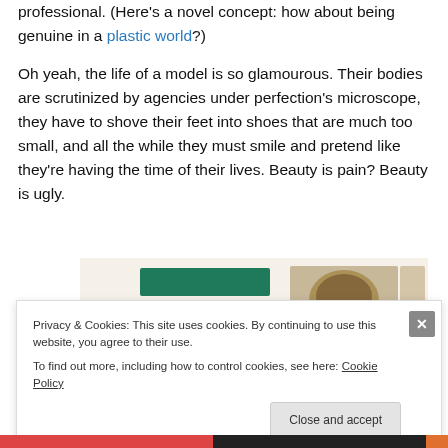professional. (Here's a novel concept: how about being genuine in a plastic world?)
Oh yeah, the life of a model is so glamourous. Their bodies are scrutinized by agencies under perfection's microscope, they have to shove their feet into shoes that are much too small, and all the while they must smile and pretend like they're having the time of their lives. Beauty is pain? Beauty is ugly.
[Figure (screenshot): Partial screenshot of a website showing a green button and food/recipe images on a beige background]
Privacy & Cookies: This site uses cookies. By continuing to use this website, you agree to their use.
To find out more, including how to control cookies, see here: Cookie Policy
Close and accept